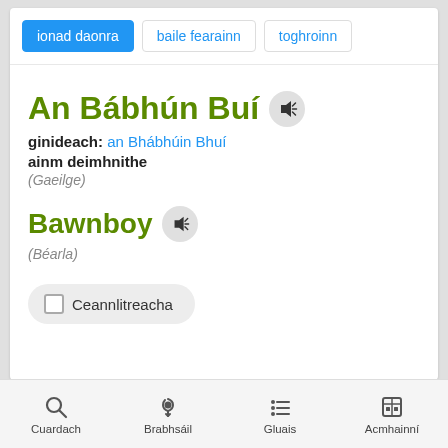ionad daonra | baile fearainn | toghroinn
An Bábhún Buí
ginideach: an Bhábhúin Bhuí
ainm deimhnithe
(Gaeilge)
Bawnboy
(Béarla)
☐ Ceannlitreacha
Cuardach | Brabhsáil | Gluais | Acmhainní